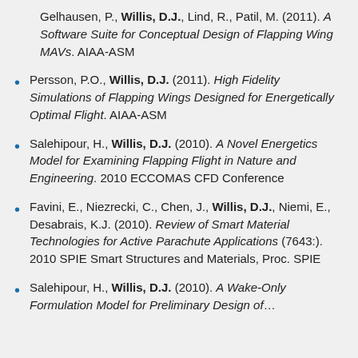Gelhausen, P., Willis, D.J., Lind, R., Patil, M. (2011). A Software Suite for Conceptual Design of Flapping Wing MAVs. AIAA-ASM
Persson, P.O., Willis, D.J. (2011). High Fidelity Simulations of Flapping Wings Designed for Energetically Optimal Flight. AIAA-ASM
Salehipour, H., Willis, D.J. (2010). A Novel Energetics Model for Examining Flapping Flight in Nature and Engineering. 2010 ECCOMAS CFD Conference
Favini, E., Niezrecki, C., Chen, J., Willis, D.J., Niemi, E., Desabrais, K.J. (2010). Review of Smart Material Technologies for Active Parachute Applications (7643:). 2010 SPIE Smart Structures and Materials, Proc. SPIE
Salehipour, H., Willis, D.J. (2010). A Wake-Only Formulation Model for Preliminary Design of...